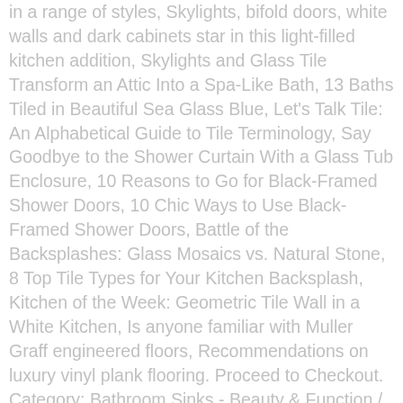in a range of styles, Skylights, bifold doors, white walls and dark cabinets star in this light-filled kitchen addition, Skylights and Glass Tile Transform an Attic Into a Spa-Like Bath, 13 Baths Tiled in Beautiful Sea Glass Blue, Let's Talk Tile: An Alphabetical Guide to Tile Terminology, Say Goodbye to the Shower Curtain With a Glass Tub Enclosure, 10 Reasons to Go for Black-Framed Shower Doors, 10 Chic Ways to Use Black-Framed Shower Doors, Battle of the Backsplashes: Glass Mosaics vs. Natural Stone, 8 Top Tile Types for Your Kitchen Backsplash, Kitchen of the Week: Geometric Tile Wall in a White Kitchen, Is anyone familiar with Muller Graff engineered floors, Recommendations on luxury vinyl plank flooring. Proceed to Checkout. Category: Bathroom Sinks - Beauty & Function / Collection: Studio Suite. But removing bathroom tile is a long, arduous and often expensive process. Q: Hi everyone! We just removed this ugly plastic pink tile, from our bathroom. And if the thought of these cotton-candy spaces sends you running for the nearest home improvement store, we'd like to ask you to reconsider. Sally V. on Nov 21, 2014. White vanity with Granite vanity top (was thinking a dark Granite) but I'm not sure about that yet.. Plumbing originated during ancient civilizations, as they developed public baths and needed to provide potable water and wastewater removal for larger numbers of people. Shown here in Cherry Red, other colourways are available. So